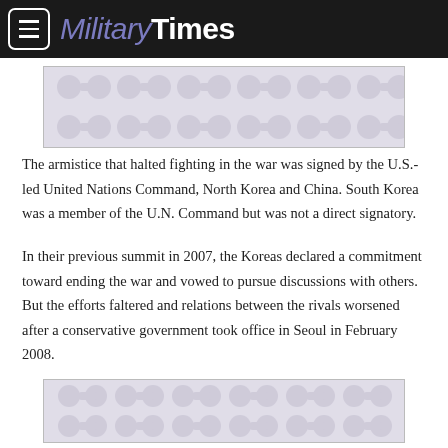Military Times
[Figure (other): Advertisement placeholder with gray decorative pattern]
The armistice that halted fighting in the war was signed by the U.S.-led United Nations Command, North Korea and China. South Korea was a member of the U.N. Command but was not a direct signatory.
In their previous summit in 2007, the Koreas declared a commitment toward ending the war and vowed to pursue discussions with others. But the efforts faltered and relations between the rivals worsened after a conservative government took office in Seoul in February 2008.
[Figure (other): Advertisement placeholder with gray decorative pattern]